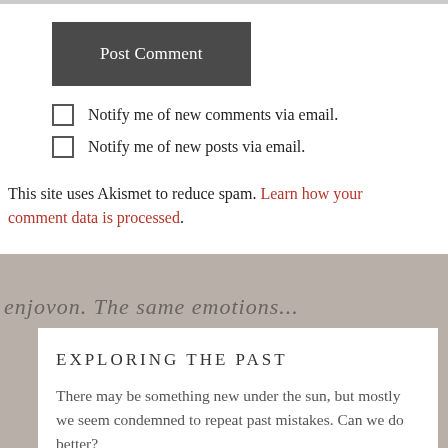Post Comment
Notify me of new comments via email.
Notify me of new posts via email.
This site uses Akismet to reduce spam. Learn how your comment data is processed.
EXPLORING THE PAST
There may be something new under the sun, but mostly we seem condemned to repeat past mistakes.  Can we do better?
This blog will explore some lessons we can learn from our ancestors, the land, and events, both well-known and obscure.